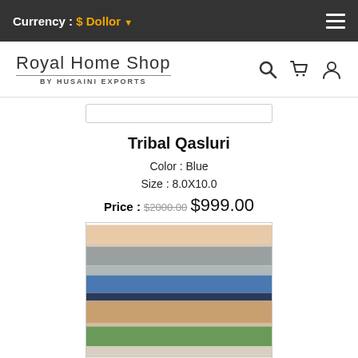Currency : $ Dollor
[Figure (logo): Royal Home Shop by Husaini Exports logo with navigation icons (search, cart, user)]
Tribal Qasluri
Color : Blue
Size : 8.0X10.0
Price : $2000.00 $999.00
[Figure (photo): Tribal Qasluri rug with horizontal stripes in beige, grey, blue, dark navy, tan, green, white, and brown tones]